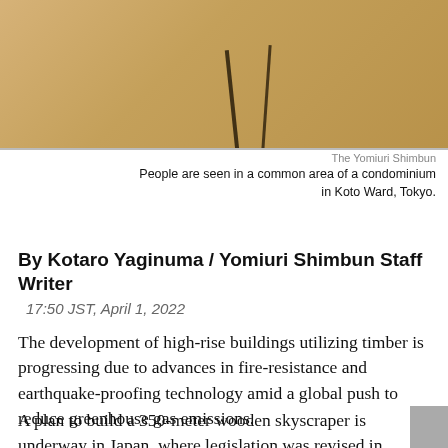[Figure (photo): People seen in a common area of a condominium in Koto Ward, Tokyo. Wooden flooring visible with shadows.]
The Yomiuri Shimbun
People are seen in a common area of a condominium in Koto Ward, Tokyo.
By Kotaro Yaginuma / Yomiuri Shimbun Staff Writer
17:50 JST,  April 1, 2022
The development of high-rise buildings utilizing timber is progressing due to advances in fire-resistance and earthquake-proofing technology amid a global push to reduce greenhouse gas emissions.
A plan to build a 350-meter wooden skyscraper is underway in Japan, where legislation was revised in